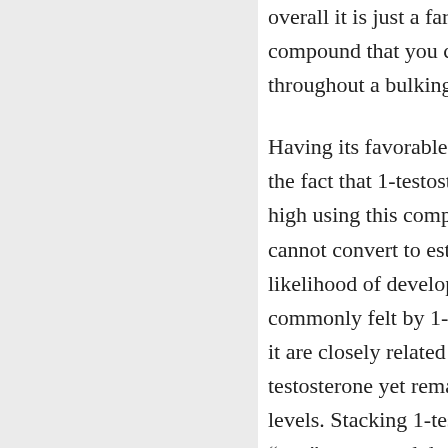overall it is just a far more compound that you can us throughout a bulking phas
Having its favorable anabo the fact that 1-testosterone high using this compound cannot convert to estrogen likelihood of developing gy commonly felt by 1-testost it are closely related to the testosterone yet remains s levels. Stacking 1-testoste "wet" compound during a
4. Testosterone Cypionat